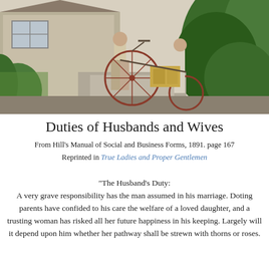[Figure (photo): Two people in early 20th century clothing outside a house, one holding a tall bicycle, surrounded by gardens and greenery.]
Duties of Husbands and Wives
From Hill's Manual of Social and Business Forms, 1891. page 167
Reprinted in True Ladies and Proper Gentlemen
"The Husband's Duty:
A very grave responsibility has the man assumed in his marriage. Doting parents have confided to his care the welfare of a loved daughter, and a trusting woman has risked all her future happiness in his keeping. Largely will it depend upon him whether her pathway shall be strewn with thorns or roses.